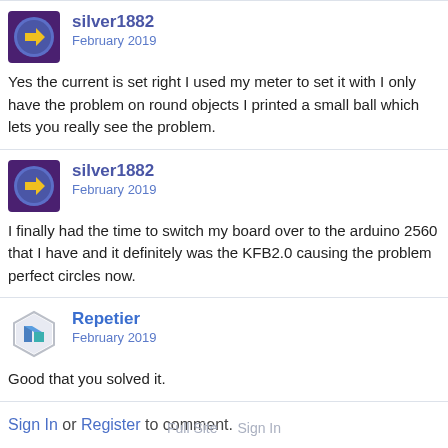[Figure (logo): silver1882 user avatar: purple square background with blue circle and yellow arrow/chevron icon]
silver1882
February 2019
Yes the current is set right I used my meter to set it with I only have the problem on round objects I printed a small ball which lets you really see the problem.
[Figure (logo): silver1882 user avatar: purple square background with blue circle and yellow arrow/chevron icon]
silver1882
February 2019
I finally had the time to switch my board over to the arduino 2560 that I have and it definitely was the KFB2.0 causing the problem perfect circles now.
[Figure (logo): Repetier user avatar: hexagon shape with blue/teal layered icon]
Repetier
February 2019
Good that you solved it.
Sign In or Register to comment.
Full Site   Sign In